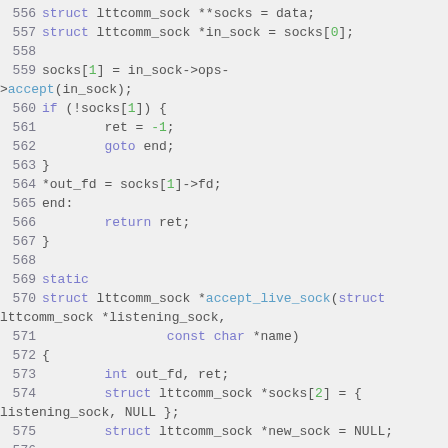[Figure (screenshot): Source code snippet in C showing lines 556-576 of a file, with syntax highlighting. Lines show struct declarations, socket operations, accept_live_sock function definition, and variable declarations.]